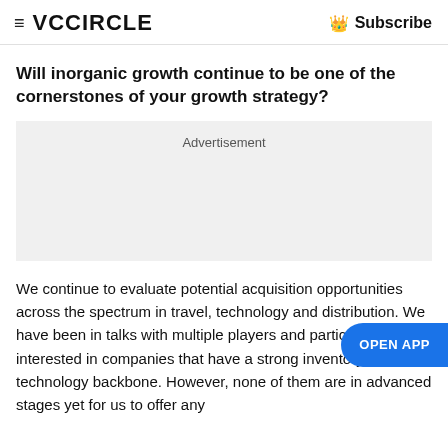≡ VCCIRCLE   👑 Subscribe
Will inorganic growth continue to be one of the cornerstones of your growth strategy?
[Figure (other): Advertisement placeholder box]
We continue to evaluate potential acquisition opportunities across the spectrum in travel, technology and distribution. We have been in talks with multiple players and particularly interested in companies that have a strong inventory and technology backbone. However, none of them are in advanced stages yet for us to offer any